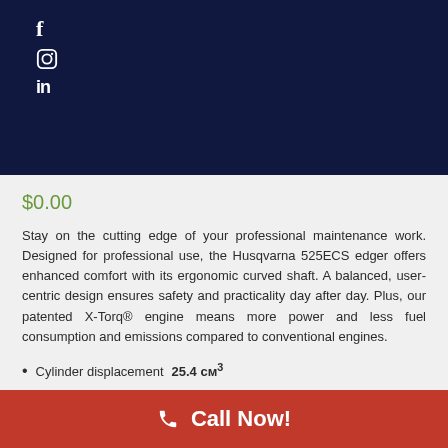[Figure (illustration): Dark navy header with social media icons: Facebook (f), Instagram (circle with camera icon), and LinkedIn (in) stacked vertically on the left side]
$0.00
Stay on the cutting edge of your professional maintenance work. Designed for professional use, the Husqvarna 525ECS edger offers enhanced comfort with its ergonomic curved shaft. A balanced, user-centric design ensures safety and practicality day after day. Plus, our patented X-Torq® engine means more power and less fuel consumption and emissions compared to conventional engines.
Cylinder displacement 25.4 cm³
Power output 1.34 hp
Maximum power speed 8500 rpm
Call Now!